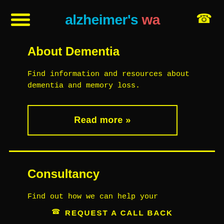alzheimer's wa
About Dementia
Find information and resources about dementia and memory loss.
Read more »
Consultancy
Find out how we can help your organisation become a leader in delivering care and
REQUEST A CALL BACK